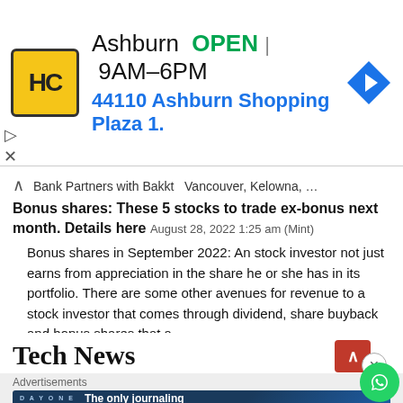[Figure (screenshot): Advertisement banner: HC logo (yellow/black), Ashburn OPEN 9AM-6PM, 44110 Ashburn Shopping Plaza 1., navigation arrow icon]
Bank Partners with Bakkt   Vancouver, Kelowna, …
Bonus shares: These 5 stocks to trade ex-bonus next month. Details here August 28, 2022 1:25 am (Mint)
Bonus shares in September 2022: An stock investor not just earns from appreciation in the share he or she has in its portfolio. There are some other avenues for revenue to a stock investor that comes through dividend, share buyback and bonus shares that a …
Tech News
[Figure (screenshot): Advertisements banner: Day One journaling app ad with icons and tagline 'The only journaling app you'll ever need.' and WhatsApp green circle icon]